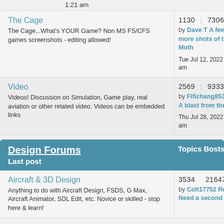1:21 am
The Cage
The Cage...What's YOUR Game? Non MS FS/CFS games screenshots - editing allowed!
1130   7306
by Dave T A few more shots of the Moth
Tue Jul 12, 2022 3:40 am
Video
Videos! Discussion on Simulation, Game play, real aviation or other related video. Videos can be embedded links
2569   9333
by Fifichang853 Re: A blast from the past
Thu Jul 28, 2022 10:44 am
Design Forums   Topics   Posts   Last post
Aircraft & 3D Design
Anything to do with Aircraft Design, FSDS, G Max, Aircraft Animator, SDL Edit, etc. Novice or skilled - stop here & learn!
3534   21647
by Colt17752 Re: Need a second